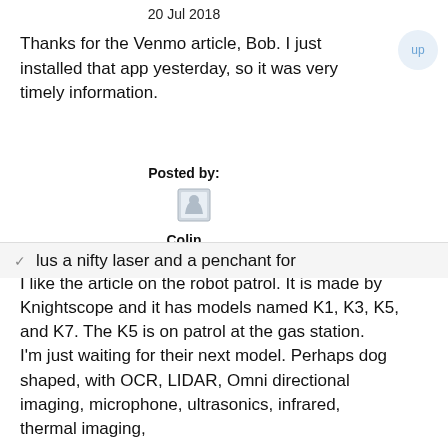20 Jul 2018
Thanks for the Venmo article, Bob. I just installed that app yesterday, so it was very timely information.
Posted by:
[Figure (illustration): Small avatar/user icon placeholder image]
Colin
23 Jul 2018
I like the article on the robot patrol. It is made by Knightscope and it has models named K1, K3, K5, and K7. The K5 is on patrol at the gas station.
I'm just waiting for their next model. Perhaps dog shaped, with OCR, LIDAR, Omni directional imaging, microphone, ultrasonics, infrared, thermal imaging, lus a nifty laser and a penchant for